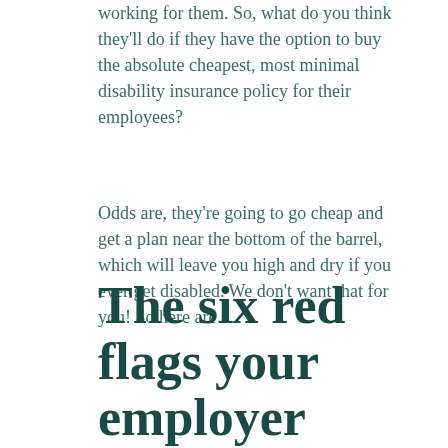working for them. So, what do you think they'll do if they have the option to buy the absolute cheapest, most minimal disability insurance policy for their employees?
Odds are, they're going to go cheap and get a plan near the bottom of the barrel, which will leave you high and dry if you ever get disabled. We don't want that for you! So here are...
The six red flags your employer hopes you don't